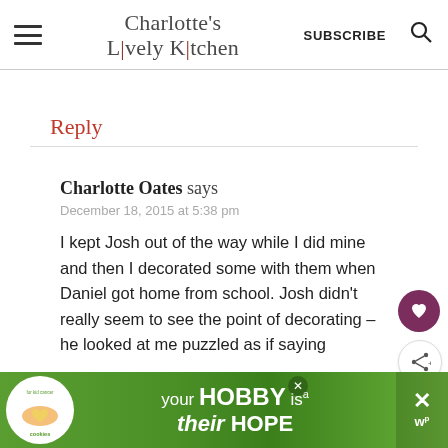Charlotte's Lively Kitchen
Reply
Charlotte Oates says
December 18, 2015 at 5:38 pm

I kept Josh out of the way while I did mine and then I decorated some with them when Daniel got home from school. Josh didn't really seem to see the point of decorating – he looked at me puzzled as if saying
[Figure (infographic): Advertisement banner: cookies for kid cancer logo with 'your HOBBY is their HOPE' text on green background]